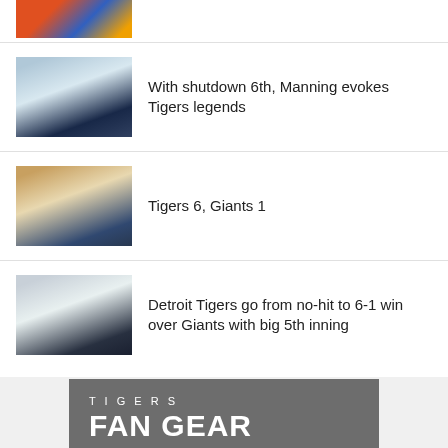[Figure (photo): Top partial image of sports/baseball scene, colorful action shot]
[Figure (photo): Baseball pitcher in Tigers uniform throwing a pitch]
With shutdown 6th, Manning evokes Tigers legends
[Figure (photo): Two Tigers baseball players celebrating/embracing]
Tigers 6, Giants 1
[Figure (photo): Detroit Tigers pitcher throwing a pitch]
Detroit Tigers go from no-hit to 6-1 win over Giants with big 5th inning
[Figure (infographic): Tigers Fan Gear advertisement with TIGERS text, FAN GEAR in bold, and two jerseys (orange and navy)]